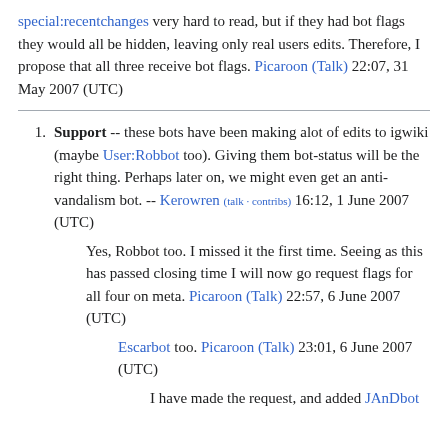special:recentchanges very hard to read, but if they had bot flags they would all be hidden, leaving only real users edits. Therefore, I propose that all three receive bot flags. Picaroon (Talk) 22:07, 31 May 2007 (UTC)
Support -- these bots have been making alot of edits to igwiki (maybe User:Robbot too). Giving them bot-status will be the right thing. Perhaps later on, we might even get an anti-vandalism bot. -- Kerowren (talk · contribs) 16:12, 1 June 2007 (UTC)
Yes, Robbot too. I missed it the first time. Seeing as this has passed closing time I will now go request flags for all four on meta. Picaroon (Talk) 22:57, 6 June 2007 (UTC)
Escarbot too. Picaroon (Talk) 23:01, 6 June 2007 (UTC)
I have made the request, and added JAnDbot